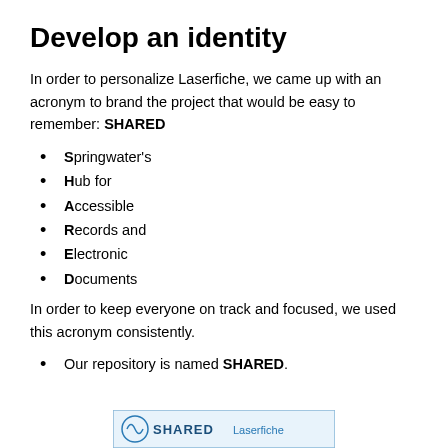Develop an identity
In order to personalize Laserfiche, we came up with an acronym to brand the project that would be easy to remember: SHARED
Springwater’s
Hub for
Accessible
Records and
Electronic
Documents
In order to keep everyone on track and focused, we used this acronym consistently.
Our repository is named SHARED.
[Figure (logo): SHARED Laserfiche logo bar at bottom of page]